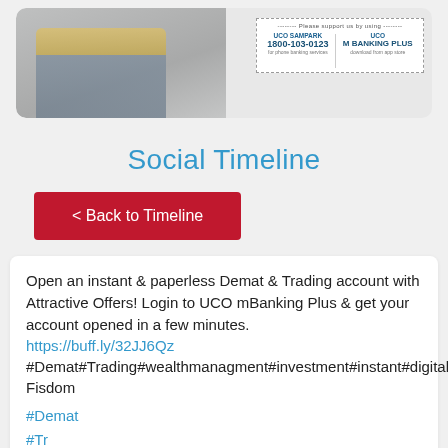[Figure (photo): UCO Bank banner with person using phone and laptop, and a support info box showing UCO SAMPARK 1800-103-0123 for phone banking services and UCO M BANKING PLUS download from app store]
Social Timeline
< Back to Timeline
Open an instant & paperless Demat & Trading account with Attractive Offers! Login to UCO mBanking Plus & get your account opened in a few minutes. https://buff.ly/32JJ6Qz #Demat#Trading#wealthmanagment#investment#instant#digital#fintech Fisdom
#Demat
#Trading